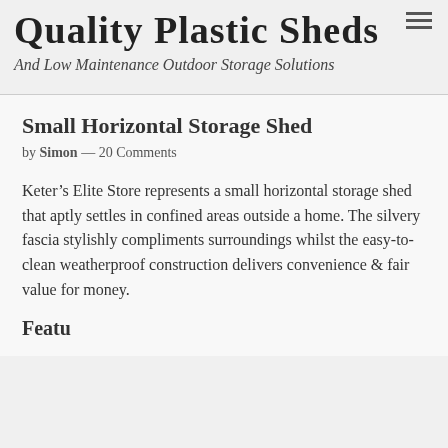Quality Plastic Sheds
And Low Maintenance Outdoor Storage Solutions
Small Horizontal Storage Shed
by Simon — 20 Comments
Keter’s Elite Store represents a small horizontal storage shed that aptly settles in confined areas outside a home. The silvery fascia stylishly compliments surroundings whilst the easy-to-clean weatherproof construction delivers convenience & fair value for money.
Features